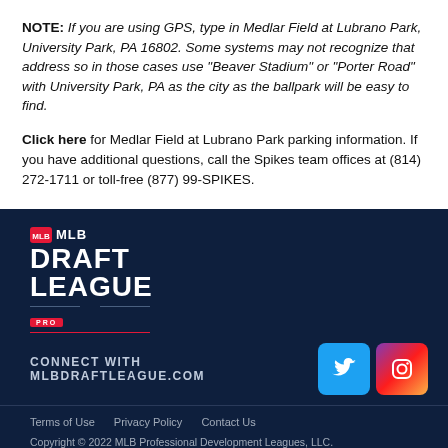NOTE: If you are using GPS, type in Medlar Field at Lubrano Park, University Park, PA 16802. Some systems may not recognize that address so in those cases use "Beaver Stadium" or "Porter Road" with University Park, PA as the city as the ballpark will be easy to find.
Click here for Medlar Field at Lubrano Park parking information. If you have additional questions, call the Spikes team offices at (814) 272-1711 or toll-free (877) 99-SPIKES.
[Figure (logo): MLB Draft League logo with MLB badge, DRAFT LEAGUE text in white bold, and PRO badge, on dark navy background]
CONNECT WITH MLBDRAFTLEAGUE.COM
Terms of Use   Privacy Policy   Contact Us
Copyright © 2022 MLB Professional Development Leagues, LLC.
MLB Draft League and Major League Baseball-related trademarks and copyrights are property of the applicable MLB Entities. Third party trademarks and copyrights are property of the applicable third party. All rights reserved.